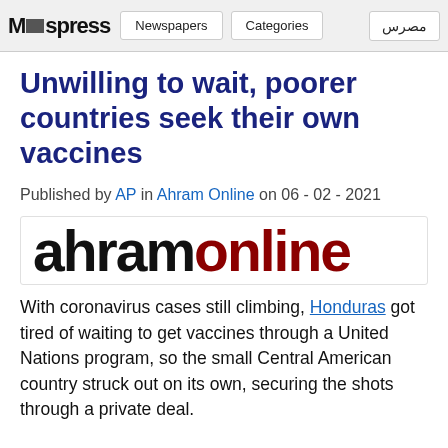M□spress | Newspapers | Categories | مصرس
Unwilling to wait, poorer countries seek their own vaccines
Published by AP in Ahram Online on 06 - 02 - 2021
[Figure (logo): Ahram Online logo in large bold text: 'ahram' in black and 'online' in dark red]
With coronavirus cases still climbing, Honduras got tired of waiting to get vaccines through a United Nations program, so the small Central American country struck out on its own, securing the shots through a private deal.